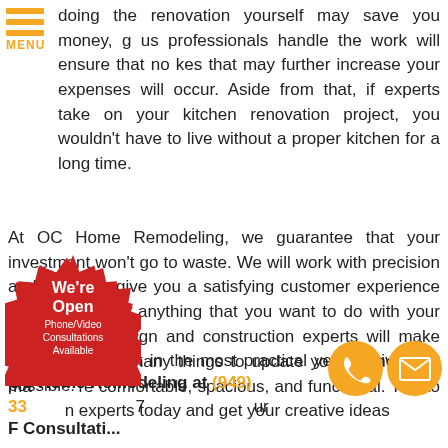[Figure (logo): Orange hamburger menu icon with three horizontal lines and MENU text below]
doing the renovation yourself may save you money, g us professionals handle the work will ensure that no kes that may further increase your expenses will occur. Aside from that, if experts take on your kitchen renovation project, you wouldn't have to live without a proper kitchen for a long time.
At OC Home Remodeling, we guarantee that your investment won't go to waste. We will work with precision and speed to give you a satisfying customer experience and results. For anything that you want to do with your kitchen, our design and construction experts will make sure to achieve it in the most practical yet creative way possible.
You can do so many things to update your kitchen and ma ere comfortable, spacious, and functional. Talk to n experts today and get your creative ideas
[Figure (illustration): Red starburst badge with white text reading We're Open Phone/Video Consultations Available]
[Figure (illustration): Orange circle icons with phone and email symbols]
OC Home Remodeling at (949) 33 7 ur
F Consultati...